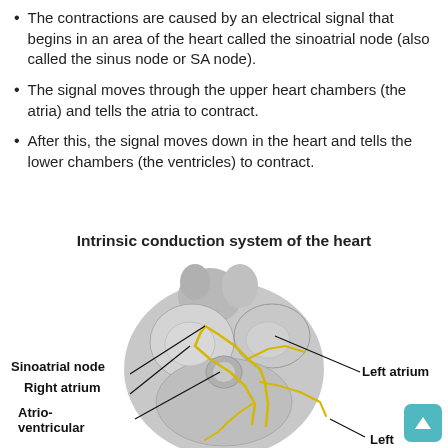The contractions are caused by an electrical signal that begins in an area of the heart called the sinoatrial node (also called the sinus node or SA node).
The signal moves through the upper heart chambers (the atria) and tells the atria to contract.
After this, the signal moves down in the heart and tells the lower chambers (the ventricles) to contract.
Intrinsic conduction system of the heart
[Figure (illustration): Anatomical illustration of the intrinsic conduction system of the heart, showing the sinoatrial node, right atrium, atrioventricular node, left atrium, and left ventricle with yellow conduction pathways labeled with leader lines.]